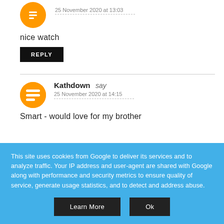25 November 2020 at 13:03
nice watch
REPLY
Kathdown say
25 November 2020 at 14:15
Smart - would love for my brother
This site uses cookies from Google to deliver its services and to analyze traffic. Your IP address and user-agent are shared with Google along with performance and security metrics to ensure quality of service, generate usage statistics, and to detect and address abuse.
Learn More
Ok